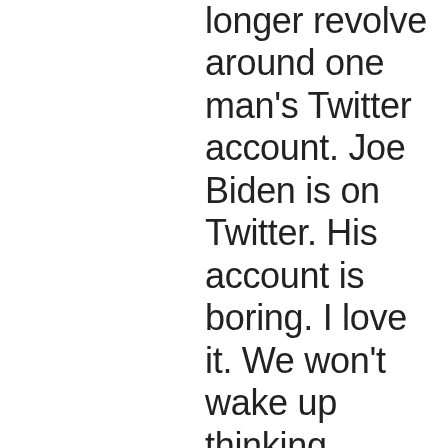longer revolve around one man's Twitter account. Joe Biden is on Twitter. His account is boring. I love it. We won't wake up thinking, “What fresh hell awaits us?” anymore. Psychologically, this is going to be transformative, and it will give us more energy and enthusiasm to fix and enjoy other parts of our lives, and tackle societal problems that were more difficult to get to because the bad man wouldn't stop